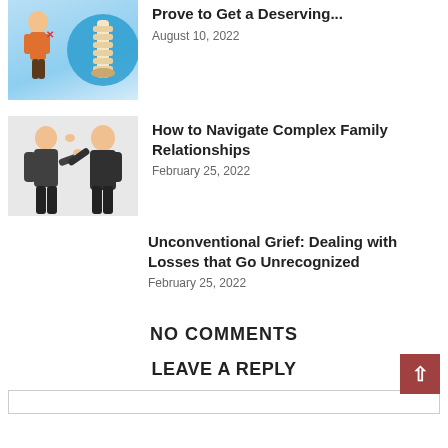[Figure (illustration): Illustration of a person with back pain and a spine anatomy diagram on blue background]
Prove to Get a Deserving...
August 10, 2022
[Figure (photo): Photo of a man and woman arguing, pointing fingers at each other]
How to Navigate Complex Family Relationships
February 25, 2022
Unconventional Grief: Dealing with Losses that Go Unrecognized
February 25, 2022
NO COMMENTS
LEAVE A REPLY